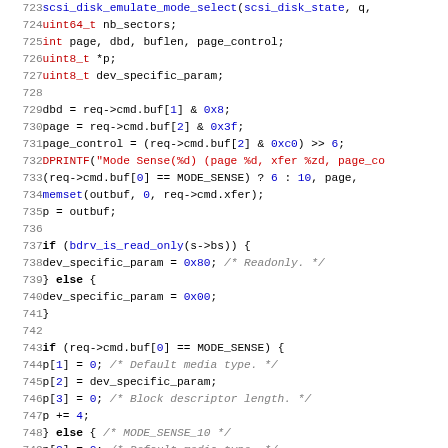[Figure (screenshot): Source code listing in C showing lines 724-755, featuring variable declarations and mode sense logic with syntax highlighting: types in red, keywords in bold, numeric/hex literals and function calls in blue, string literals in red, comments in gray italic.]